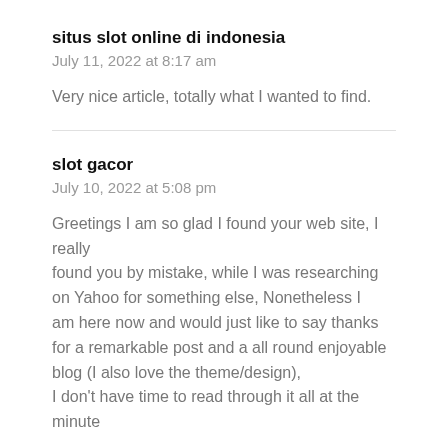situs slot online di indonesia
July 11, 2022 at 8:17 am
Very nice article, totally what I wanted to find.
slot gacor
July 10, 2022 at 5:08 pm
Greetings I am so glad I found your web site, I really found you by mistake, while I was researching on Yahoo for something else, Nonetheless I am here now and would just like to say thanks for a remarkable post and a all round enjoyable blog (I also love the theme/design), I don't have time to read through it all at the minute